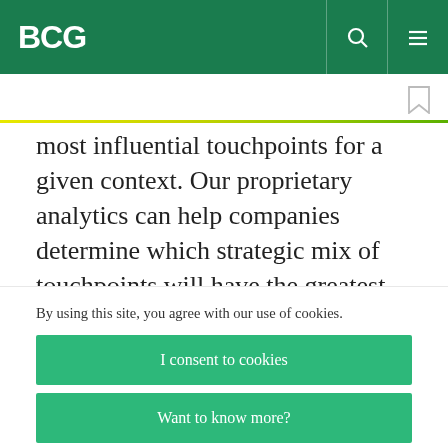BCG
most influential touchpoints for a given context. Our proprietary analytics can help companies determine which strategic mix of touchpoints will have the greatest impact on their brands and customers. This degree of granularity can deliver
By using this site, you agree with our use of cookies.
I consent to cookies
Want to know more?
Read our Cookie Policy